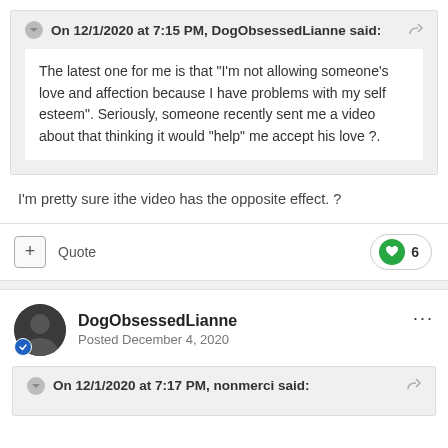On 12/1/2020 at 7:15 PM, DogObsessedLianne said:
The latest one for me is that "I'm not allowing someone's love and affection because I have problems with my self esteem". Seriously, someone recently sent me a video about that thinking it would "help" me accept his love ?.
I'm pretty sure ithe video has the opposite effect. ?
Quote
6
DogObsessedLianne
Posted December 4, 2020
On 12/1/2020 at 7:17 PM, nonmerci said: